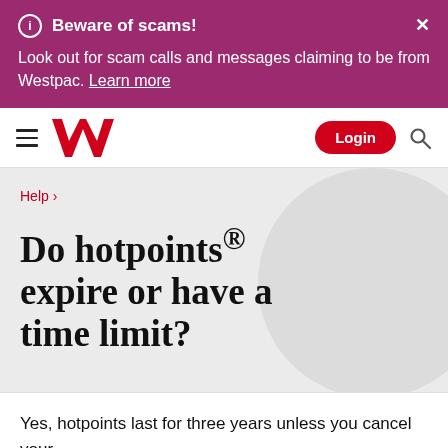Beware of scams! Look out for scam calls and messages claiming to be from Westpac. Learn more
[Figure (logo): Westpac bank logo with hamburger menu, Login button, and search icon]
Help ›
Do hotpoints® expire or have a time limit?
Yes, hotpoints last for three years unless you cancel your